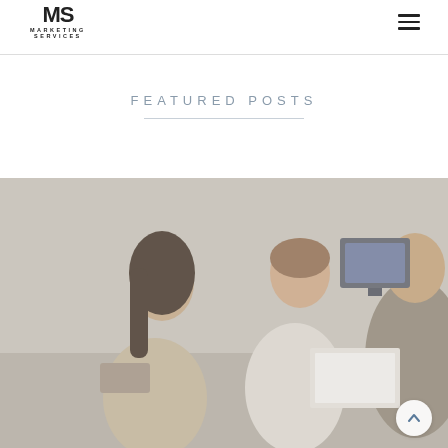MS MARKETING SERVICES
FEATURED POSTS
[Figure (photo): Office meeting scene: a woman with crossed arms and a man seated at a desk across from a consultant or advisor, with a computer monitor in the background. The image has a muted, desaturated tone.]